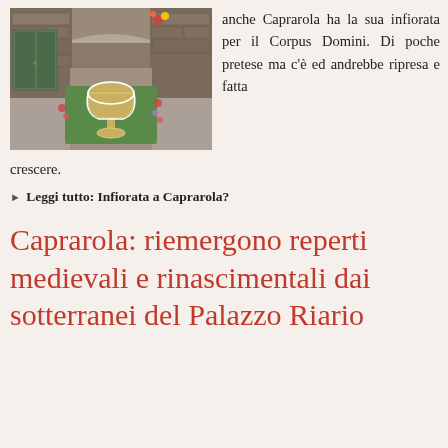[Figure (photo): A narrow stone medieval alleyway with a floral carpet artwork on the ground depicting a chalice/goblet shape made with flowers and seeds, viewed through a stone arch.]
anche Caprarola ha la sua infiorata per il Corpus Domini. Di poche pretese ma c'è ed andrebbe ripresa e fatta crescere.
▶ **Leggi tutto: **Infiorata a Caprarola?
Caprarola: riemergono reperti medievali e rinascimentali dai sotterranei del Palazzo Riario